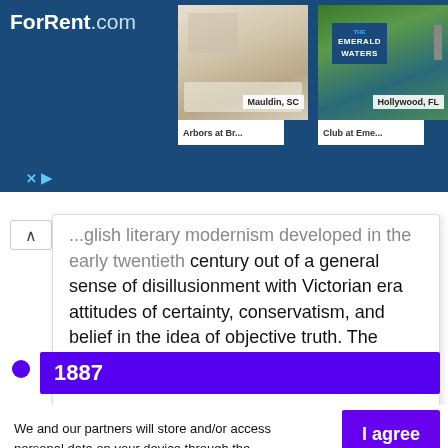[Figure (screenshot): ForRent.com advertisement banner showing two apartment listings: Arbors at Br... in Mauldin, SC and Club at Eme... in Hollywood, FL]
...glish literary modernism developed in the early twentieth century out of a general sense of disillusionment with Victorian era attitudes of certainty, conservatism, and belief in the idea of objective truth. The movement was influenced by the ideas of Charles Darwin
1887
We and our partners will store and/or access personal data on your device through the use of cookies and similar technologies, to display personalised ads, for ad and content measurement, audience insights and product development.

By clicking 'I agree,' you consent to this, or you can manage your preferences.